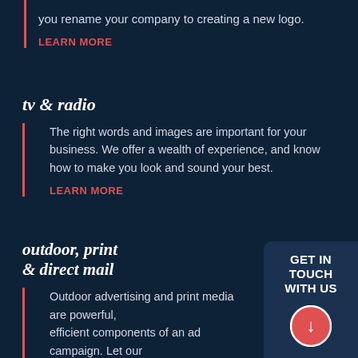you rename your company to creating a new logo.
LEARN MORE
tv & radio
The right words and images are important for your business. We offer a wealth of experience, and know how to make you look and sound your best.
LEARN MORE
outdoor, print & direct mail
Outdoor advertising and print media are powerful, efficient components of an ad campaign. Let our team take your outdoor and print materials from everyday to extraordinary.
GET IN TOUCH WITH US